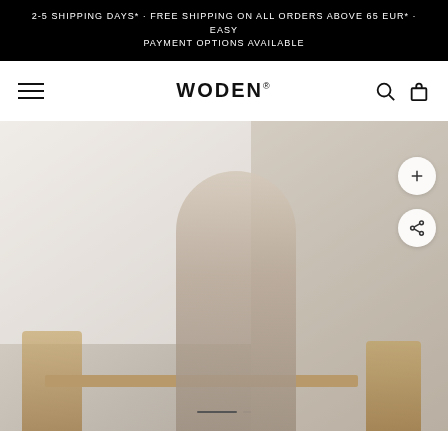2-5 SHIPPING DAYS* · FREE SHIPPING ON ALL ORDERS ABOVE 65 EUR* · EASY PAYMENT OPTIONS AVAILABLE
WODEN
[Figure (photo): A toddler standing at a small wooden table/desk, reaching into a drawer. Wooden chairs visible on either side. Bright, minimalist Scandinavian-style room with white and beige tones. WODEN brand e-commerce product page hero image.]